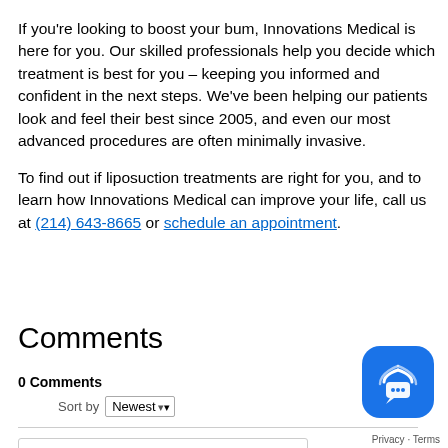If you're looking to boost your bum, Innovations Medical is here for you. Our skilled professionals help you decide which treatment is best for you – keeping you informed and confident in the next steps. We've been helping our patients look and feel their best since 2005, and even our most advanced procedures are often minimally invasive.
To find out if liposuction treatments are right for you, and to learn how Innovations Medical can improve your life, call us at (214) 643-8665 or schedule an appointment.
Comments
0 Comments
Sort by Newest
Add a comment...